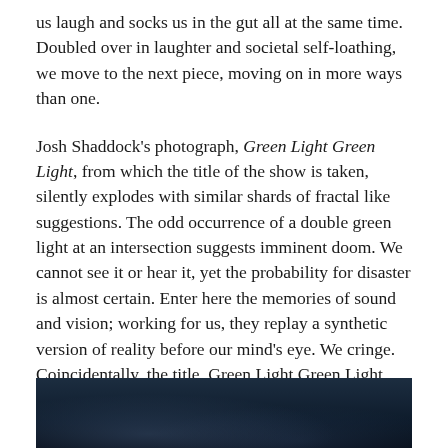us laugh and socks us in the gut all at the same time. Doubled over in laughter and societal self-loathing, we move to the next piece, moving on in more ways than one.
Josh Shaddock's photograph, Green Light Green Light, from which the title of the show is taken, silently explodes with similar shards of fractal like suggestions. The odd occurrence of a double green light at an intersection suggests imminent doom. We cannot see it or hear it, yet the probability for disaster is almost certain. Enter here the memories of sound and vision; working for us, they replay a synthetic version of reality before our mind's eye. We cringe. Coincidentally, the title, Green Light Green Light, conjures other similar mantras in our associative mind: All systems go. No holds barred. We wonder what the world would be like if this in fact were the case more often, in politics, emotion, faith, plumbing: if the world were not one of stops, but only go.
[Figure (photo): Dark photograph at bottom of page, appearing to show a dimly lit scene with dark blues and blacks, likely the bottom portion of a night photograph.]